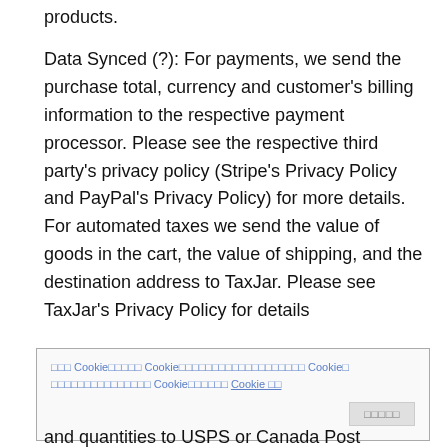products.
Data Synced (?): For payments, we send the purchase total, currency and customer's billing information to the respective payment processor. Please see the respective third party's privacy policy (Stripe's Privacy Policy and PayPal's Privacy Policy) for more details. For automated taxes we send the value of goods in the cart, the value of shipping, and the destination address to TaxJar. Please see TaxJar's Privacy Policy for details
Cookie banner overlay with cookie consent text and a button
and quantities to USPS or Canada Post